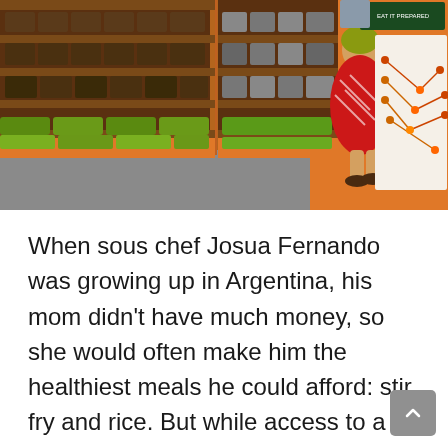[Figure (photo): Interior of a health food store or market showing shelves stocked with packaged foods and snacks, with orange shelving units. A woman in a red floral dress and yellow headscarf stands browsing near display panels on an orange wall. The right side shows educational posters and wooden furniture.]
When sous chef Josua Fernando was growing up in Argentina, his mom didn't have much money, so she would often make him the healthiest meals he could afford: stir fry and rice. But while access to a healthy diet has improved greatly over the past